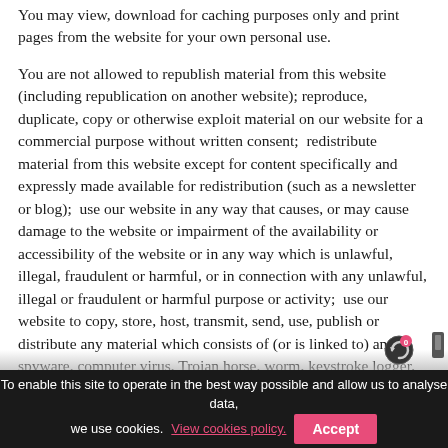You may view, download for caching purposes only and print pages from the website for your own personal use.
You are not allowed to republish material from this website (including republication on another website); reproduce, duplicate, copy or otherwise exploit material on our website for a commercial purpose without written consent;  redistribute material from this website except for content specifically and expressly made available for redistribution (such as a newsletter or blog);  use our website in any way that causes, or may cause damage to the website or impairment of the availability or accessibility of the website or in any way which is unlawful, illegal, fraudulent or harmful, or in connection with any unlawful, illegal or fraudulent or harmful purpose or activity;  use our website to copy, store, host, transmit, send, use, publish or distribute any material which consists of (or is linked to) any spyware, computer virus, Trojan horse, worm, keystroke logger, rootkit,  or other malicious software;  use our website to conduct any systematic or automated data collection activities (including without limitation scraping, data mining, data extraction and data harvesting, use
To enable this site to operate in the best way possible and allow us to analyse data, we use cookies. View cookies policy.  Accept